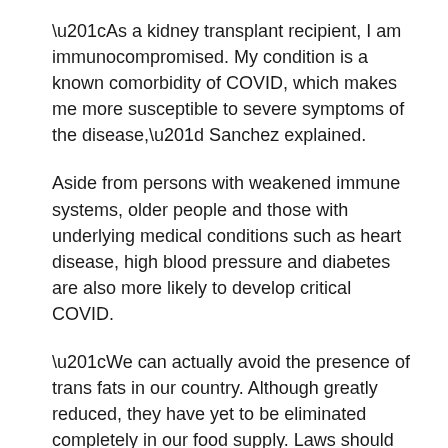“As a kidney transplant recipient, I am immunocompromised. My condition is a known comorbidity of COVID, which makes me more susceptible to severe symptoms of the disease,” Sanchez explained.
Aside from persons with weakened immune systems, older people and those with underlying medical conditions such as heart disease, high blood pressure and diabetes are also more likely to develop critical COVID.
“We can actually avoid the presence of trans fats in our country. Although greatly reduced, they have yet to be eliminated completely in our food supply. Laws should be enacted to declare that these fats are no longer generally recognized as safe. A deadline must be set for them to be banned,” he added.